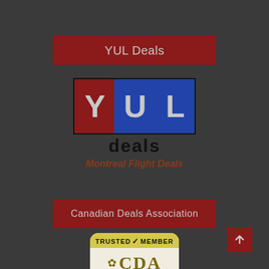YUL Deals
[Figure (logo): YUL Deals logo with Y in red box, UL in blue box, and 'deals' text below, with 'Montreal Flight Deals' subtitle]
Canadian Deals Association
[Figure (logo): Canadian Deals Association Trusted Member badge with yellow header and white inner box containing CDA logo]